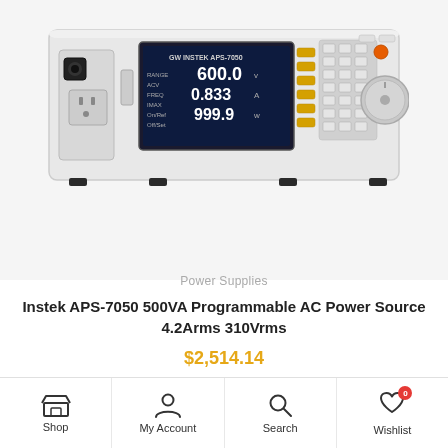[Figure (photo): GW Instek APS-7050 500VA Programmable AC Power Source — a rack-style white/grey instrument with a large color display showing 600.0, 0.833, 999.9 readings, keypad buttons, and a rotary knob on the right side.]
Power Supplies
Instek APS-7050 500VA Programmable AC Power Source 4.2Arms 310Vrms
$2,514.14
Shop  My Account  Search  Wishlist